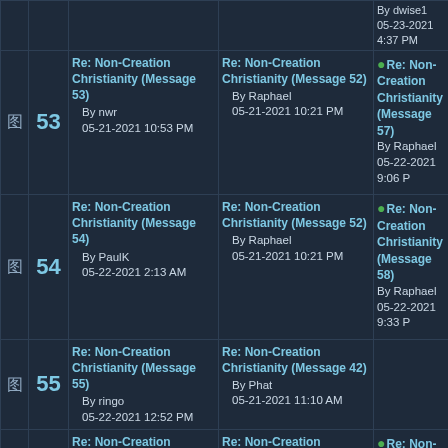|  | # | Message | In Reply To | Replies |
| --- | --- | --- | --- | --- |
|  |  | By dwise1
05-23-2021 4:37 PM |  |  |
| icon | 53 | Re: Non-Creation Christianity (Message 53)
By nwr
05-21-2021 10:53 PM | Re: Non-Creation Christianity (Message 52)
By Raphael
05-21-2021 10:21 PM | Re: Non-Creation Christianity (Message 57)
By Raphael
05-22-2021 9:06 PM |
| icon | 54 | Re: Non-Creation Christianity (Message 54)
By PaulK
05-22-2021 2:13 AM | Re: Non-Creation Christianity (Message 52)
By Raphael
05-21-2021 10:21 PM | Re: Non-Creation Christianity (Message 58)
By Raphael
05-22-2021 9:33 PM |
| icon | 55 | Re: Non-Creation Christianity (Message 55)
By ringo
05-22-2021 12:52 PM | Re: Non-Creation Christianity (Message 42)
By Phat
05-21-2021 11:10 AM |  |
| icon | 56 | Re: Non-Creation Christianity (Message 56)
By ringo
05-22-2021 1:07 PM | Re: Non-Creation Christianity (Message 52)
By Raphael
05-21-2021 10:21 PM | Re: Non-Creation Christianity (Message 59)
By Raphael
05-22-2021 9:46 PM |
| icon | 57 | Re: Non-Creation Christianity (Message 57)
By Raphael
05-22-2021 9:06 PM | Re: Non-Creation Christianity (Message 53)
By nwr
05-21-2021 10:53 PM | Re: Non-Creation Christianity (Message 60)
By nwr
05-22-2021 9:47 PM
Re: Non-Creation Christianity (Message 66)
By Tangle |